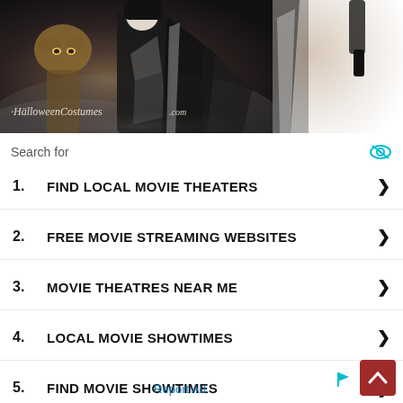[Figure (photo): Halloween advertisement banner showing a person in a dark costume and a creature with an animal head against a foggy background. Text reads 'HalloweenCostumes.com']
Search for
1. FIND LOCAL MOVIE THEATERS
2. FREE MOVIE STREAMING WEBSITES
3. MOVIE THEATRES NEAR ME
4. LOCAL MOVIE SHOWTIMES
5. FIND MOVIE SHOWTIMES
Report Ad